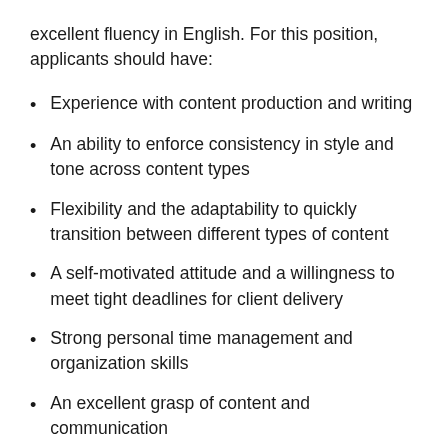excellent fluency in English. For this position, applicants should have:
Experience with content production and writing
An ability to enforce consistency in style and tone across content types
Flexibility and the adaptability to quickly transition between different types of content
A self-motivated attitude and a willingness to meet tight deadlines for client delivery
Strong personal time management and organization skills
An excellent grasp of content and communication
An understanding of how to deliver